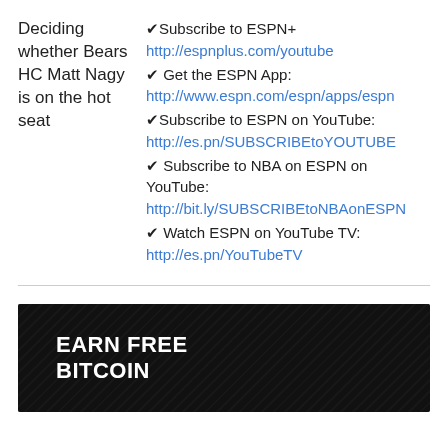Deciding whether Bears HC Matt Nagy is on the hot seat
✔Subscribe to ESPN+
http://espnplus.com/youtube
✔ Get the ESPN App:
http://www.espn.com/espn/apps/espn
✔Subscribe to ESPN on YouTube:
http://es.pn/SUBSCRIBEtoYOUTUBE
✔ Subscribe to NBA on ESPN on YouTube:
http://bit.ly/SUBSCRIBEtoNBAonESPN
✔ Watch ESPN on YouTube TV:
http://es.pn/YouTubeTV
[Figure (illustration): Dark banner advertisement reading EARN FREE BITCOIN in bold white text on a dark patterned background]